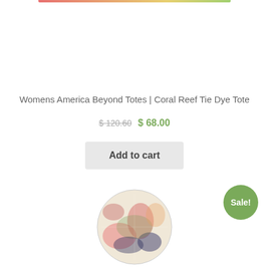Womens America Beyond Totes | Coral Reef Tie Dye Tote
$ 120.60 $ 68.00
Add to cart
Sale!
[Figure (photo): Partial view of a colorful tie-dye tote bag with coral reef pattern at the bottom of the page]